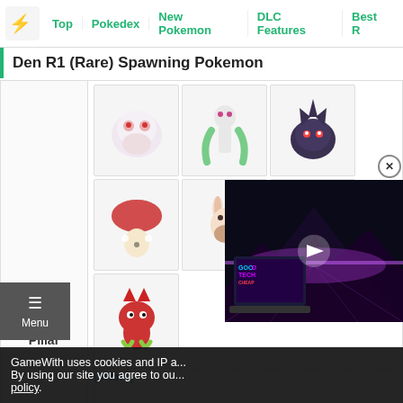Top | Pokedex | New Pokemon | DLC Features | Best R
Den R1 (Rare) Spawning Pokemon
| Location | Pokemon |
| --- | --- |
| Purple Pillar | Row 1: 6 Pokemon sprites (Hatenna-like, Gardevoir, dark spiky, mushroom, Buneary, Steelix-like) |
| Purple Pillar | Row 2: 1 Pokemon sprite (red devil-like) |
| Purple Pillar | (Sword) 1 Pokemon sprite (dark slug-like) |
| Purple Pillar | (Shield) 1 Pokemon sprite (Galarian Rapidash-like unicorn) |
GameWith uses cookies and IP a... By using our site you agree to ou... policy.